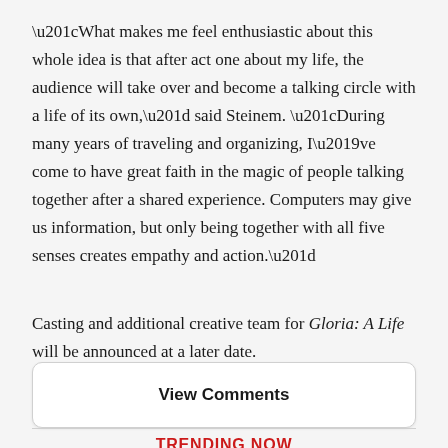“What makes me feel enthusiastic about this whole idea is that after act one about my life, the audience will take over and become a talking circle with a life of its own,” said Steinem. “During many years of traveling and organizing, I’ve come to have great faith in the magic of people talking together after a shared experience. Computers may give us information, but only being together with all five senses creates empathy and action.”
Casting and additional creative team for Gloria: A Life will be announced at a later date.
View Comments
TRENDING NOW